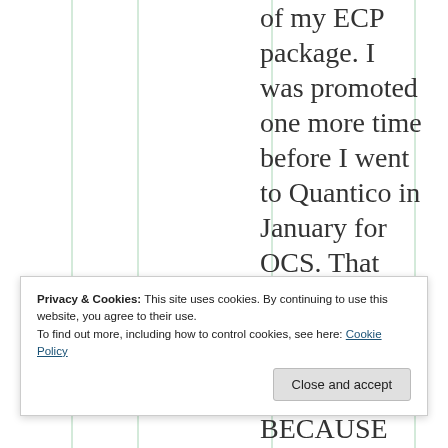of my ECP package. I was promoted one more time before I went to Quantico in January for OCS. That tells you
BECAUSE
Privacy & Cookies: This site uses cookies. By continuing to use this website, you agree to their use.
To find out more, including how to control cookies, see here: Cookie Policy
Close and accept